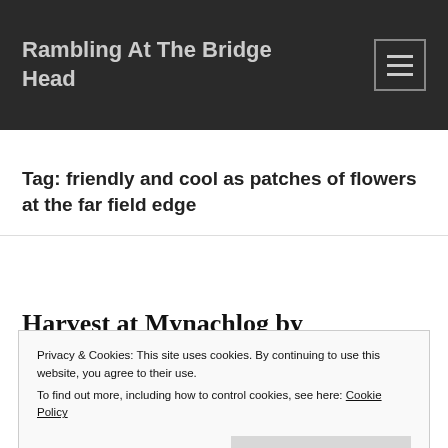Rambling At The Bridge Head
Tag: friendly and cool as patches of flowers at the far field edge
Harvest at Mynachlog by
Privacy & Cookies: This site uses cookies. By continuing to use this website, you agree to their use.
To find out more, including how to control cookies, see here: Cookie Policy